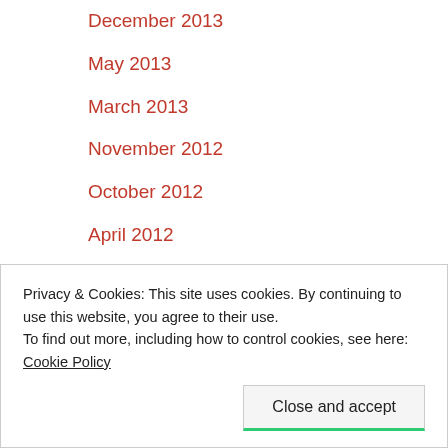December 2013
May 2013
March 2013
November 2012
October 2012
April 2012
August 2011
July 2011
June 2011
April 2011
March 2011
Privacy & Cookies: This site uses cookies. By continuing to use this website, you agree to their use.
To find out more, including how to control cookies, see here: Cookie Policy